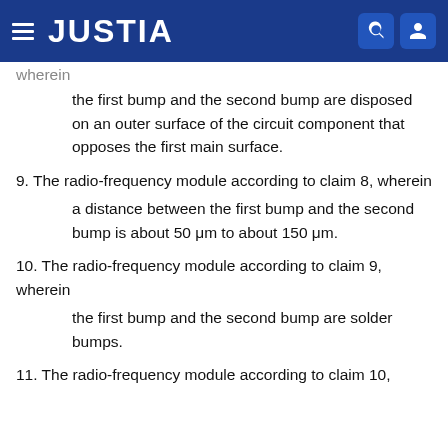JUSTIA
wherein
the first bump and the second bump are disposed on an outer surface of the circuit component that opposes the first main surface.
9. The radio-frequency module according to claim 8, wherein
a distance between the first bump and the second bump is about 50 μm to about 150 μm.
10. The radio-frequency module according to claim 9, wherein
the first bump and the second bump are solder bumps.
11. The radio-frequency module according to claim 10,